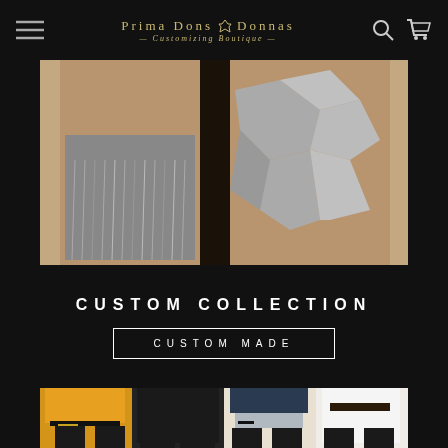Prima Dons & Donnas — Customizing Boutique
[Figure (photo): Two models shown from waist down wearing silver/metallic fringe and geometric mirrored outfits against a beige background]
CUSTOM COLLECTION
CUSTOM MADE
[Figure (photo): Four models shown from waist down wearing various outfits with wide belts — yellow outfit with black belt, black dress, navy top with shorts, white outfit with dark belt — all with black leather leggings/boots]